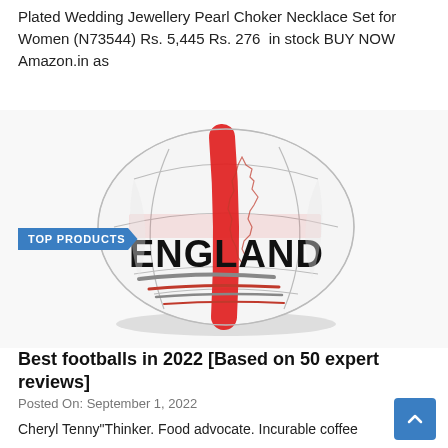Plated Wedding Jewellery Pearl Choker Necklace Set for Women (N73544) Rs. 5,445 Rs. 276  in stock BUY NOW Amazon.in as
[Figure (photo): A white rugby/football with 'ENGLAND' printed in bold black text and red cross stripe design with map outline, labeled 'TOP PRODUCTS' badge in upper left]
Best footballs in 2022 [Based on 50 expert reviews]
Posted On: September 1, 2022
Cheryl Tenny"Thinker. Food advocate. Incurable coffee enthusiast. Communicator. Devoted advocate. Zombie buff. T...